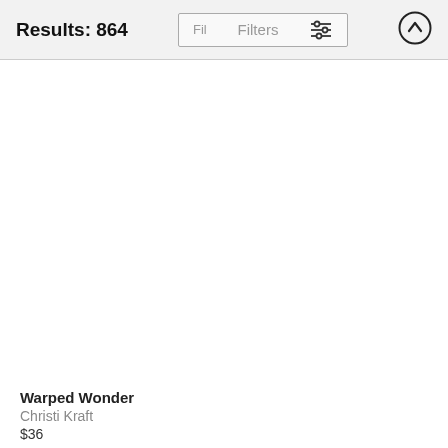Results: 864
[Figure (screenshot): Filters button with sliders icon]
[Figure (screenshot): Upload/up arrow circular button]
Warped Wonder
Christi Kraft
$36